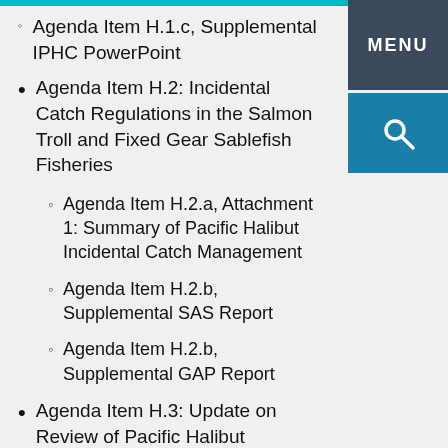Agenda Item H.1.c, Supplemental IPHC PowerPoint
Agenda Item H.2: Incidental Catch Regulations in the Salmon Troll and Fixed Gear Sablefish Fisheries
Agenda Item H.2.a, Attachment 1: Summary of Pacific Halibut Incidental Catch Management
Agenda Item H.2.b, Supplemental SAS Report
Agenda Item H.2.b, Supplemental GAP Report
Agenda Item H.3: Update on Review of Pacific Halibut Management Under the National Environmental Policy Act and Status of Preliminary Alternatives for